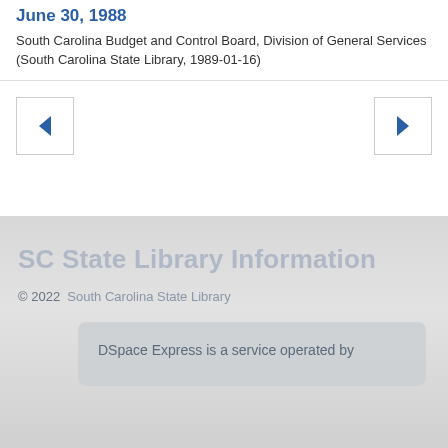June 30, 1988
South Carolina Budget and Control Board, Division of General Services (South Carolina State Library, 1989-01-16)
SC State Library Information
© 2022  South Carolina State Library
DSpace Express is a service operated by